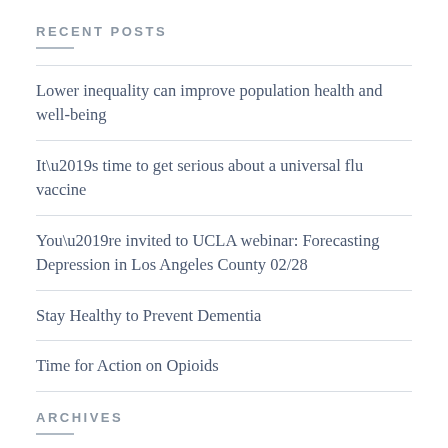RECENT POSTS
Lower inequality can improve population health and well-being
It’s time to get serious about a universal flu vaccine
You’re invited to UCLA webinar: Forecasting Depression in Los Angeles County 02/28
Stay Healthy to Prevent Dementia
Time for Action on Opioids
ARCHIVES
June 2018
February 2018